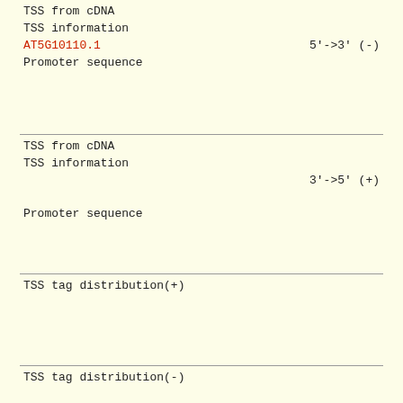TSS from cDNA
TSS information
AT5G10110.1                    5'->3' (-)
Promoter sequence
TSS from cDNA
TSS information
                               3'->5' (+)
Promoter sequence
TSS tag distribution(+)
TSS tag distribution(-)